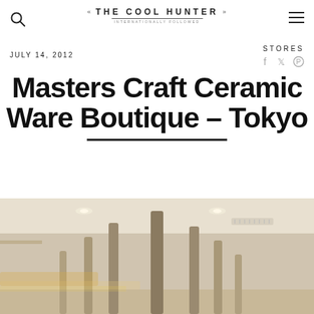THE COOL HUNTER
JULY 14, 2012
STORES
Masters Craft Ceramic Ware Boutique – Tokyo
[Figure (photo): Interior of Masters Craft Ceramic Ware Boutique in Tokyo, showing tall cylindrical ceramic/wooden columns arranged like stylized trees in a minimalist white retail space with recessed ceiling lights.]